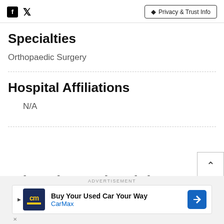Facebook Twitter | Privacy & Trust Info
Specialties
Orthopaedic Surgery
Hospital Affiliations
N/A
Education and Training (partial)
ADVERTISEMENT — Buy Your Used Car Your Way CarMax